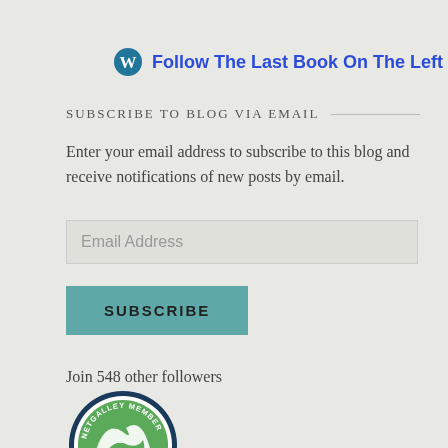[Figure (logo): WordPress follow button with icon showing 'Follow The Last Book On The Left' and follower count badge '534']
SUBSCRIBE TO BLOG VIA EMAIL
Enter your email address to subscribe to this blog and receive notifications of new posts by email.
Email Address
SUBSCRIBE
Join 548 other followers
[Figure (logo): NetGalley Member Professional Reader circular badge with green swoosh logo]